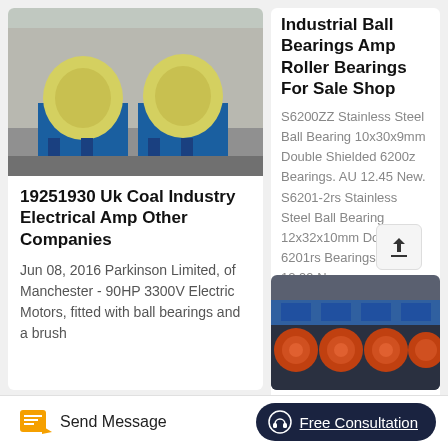[Figure (photo): Industrial yellow drum/barrel washing or screening machines on blue metal frames in a factory yard]
19251930 Uk Coal Industry Electrical Amp Other Companies
Jun 08, 2016 Parkinson Limited, of Manchester - 90HP 3300V Electric Motors, fitted with ball bearings and a brush
Industrial Ball Bearings Amp Roller Bearings For Sale Shop
S6200ZZ Stainless Steel Ball Bearing 10x30x9mm Double Shielded 6200z Bearings. AU 12.45 New. S6201-2rs Stainless Steel Ball Bearing 12x32x10mm Double 6201rs Bearings. AU 12.99 New.
[Figure (photo): Industrial orange/red roller bearings or conveyor components on machinery]
Send Message   Free Consultation